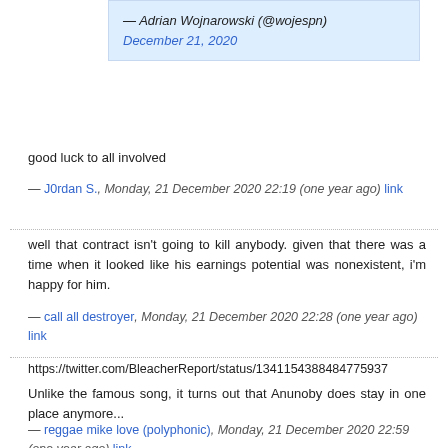— Adrian Wojnarowski (@wojespn) December 21, 2020
good luck to all involved
— J0rdan S., Monday, 21 December 2020 22:19 (one year ago) link
well that contract isn't going to kill anybody. given that there was a time when it looked like his earnings potential was nonexistent, i'm happy for him.
— call all destroyer, Monday, 21 December 2020 22:28 (one year ago) link
https://twitter.com/BleacherReport/status/1341154388484775937
Unlike the famous song, it turns out that Anunoby does stay in one place anymore...
— reggae mike love (polyphonic), Monday, 21 December 2020 22:59 (one year ago) link